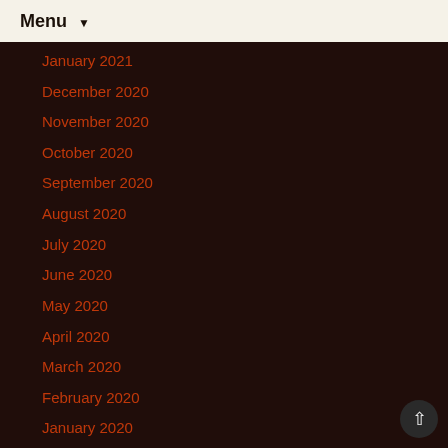Menu ▼
January 2021
December 2020
November 2020
October 2020
September 2020
August 2020
July 2020
June 2020
May 2020
April 2020
March 2020
February 2020
January 2020